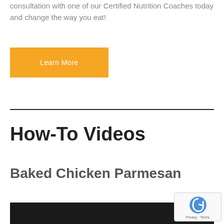consultation with one of our Certified Nutrition Coaches today and change the way you eat!
[Figure (other): Yellow 'Learn More' button]
How-To Videos
Baked Chicken Parmesan
[Figure (screenshot): Video thumbnail (dark background, partially visible at bottom of page)]
[Figure (other): reCAPTCHA badge with Privacy and Terms links]